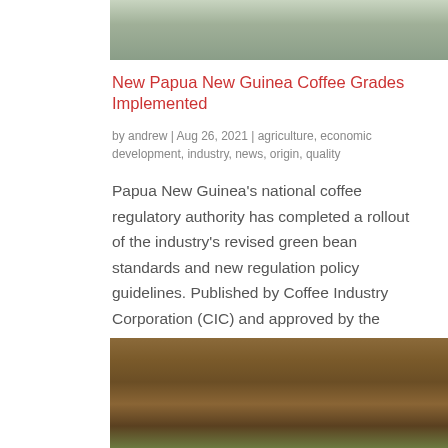[Figure (photo): Top portion of a photo showing a table setting with people in the background]
New Papua New Guinea Coffee Grades Implemented
by andrew | Aug 26, 2021 | agriculture, economic development, industry, news, origin, quality
Papua New Guinea's national coffee regulatory authority has completed a rollout of the industry's revised green bean standards and new regulation policy guidelines. Published by Coffee Industry Corporation (CIC) and approved by the National Institute of Standards and...
[Figure (photo): Photo of rows of coffee plants or dried coffee leaves along a path in a field]